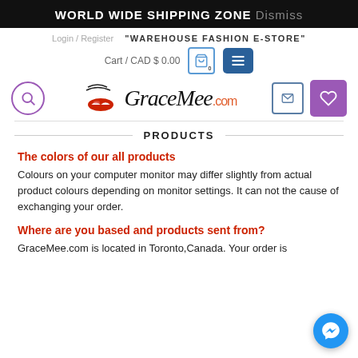WORLD WIDE SHIPPING ZONE Dismiss
Login / Register  "WAREHOUSE FASHION E-STORE"
Cart / CAD $ 0.00
[Figure (logo): GraceMee.com logo with stylized lips and italic script text]
PRODUCTS
The colors of our all products
Colours on your computer monitor may differ slightly from actual product colours depending on monitor settings. It can not the cause of exchanging your order.
Where are you based and products sent from?
GraceMee.com is located in Toronto,Canada. Your order is